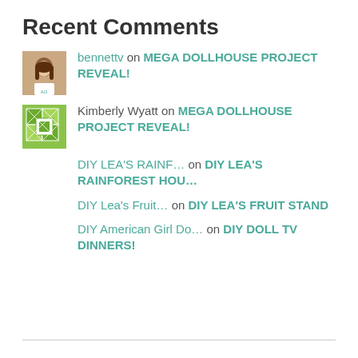Recent Comments
bennettv on MEGA DOLLHOUSE PROJECT REVEAL!
Kimberly Wyatt on MEGA DOLLHOUSE PROJECT REVEAL!
DIY LEA'S RAINF... on DIY LEA'S RAINFOREST HOU...
DIY Lea's Fruit... on DIY LEA'S FRUIT STAND
DIY American Girl Do... on DIY DOLL TV DINNERS!